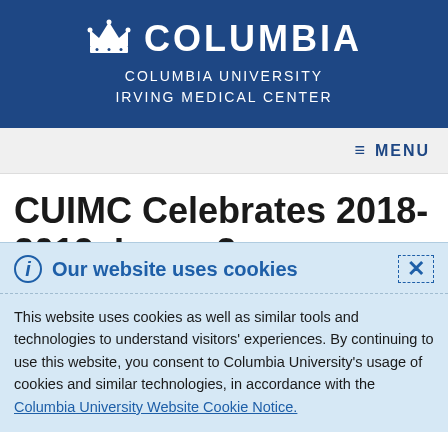[Figure (logo): Columbia University Irving Medical Center logo with crown icon and text in white on dark blue banner]
≡ MENU
CUIMC Celebrates 2018-2019, Issue 2
ⓘ Our website uses cookies
This website uses cookies as well as similar tools and technologies to understand visitors' experiences. By continuing to use this website, you consent to Columbia University's usage of cookies and similar technologies, in accordance with the Columbia University Website Cookie Notice.